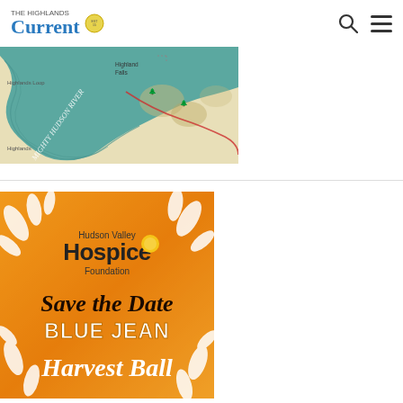The Highlands Current
[Figure (map): Illustrated map showing the Mighty Hudson River with Highland Falls and Highlands Loop labeled, featuring topographic illustration style with teal/blue river and beige land]
[Figure (illustration): Hudson Valley Hospice Foundation advertisement: Save the Date - Blue Jean Harvest Ball, orange/autumn themed background with white leaf decorations]